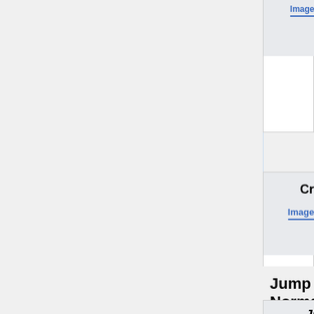| Images | Hitboxes | Damage | Stun | Star... |
| --- | --- | --- | --- | --- |
|  |  | 30 | 30 | 4 |
|  |  | • Enter move descrip... |
| Images | Hitboxes | Damage | Stun | Star... |
| --- | --- | --- | --- | --- |
| Crouch C |
|  |  | 70 | 70 | 6 |
|  |  | • Enter move descrip... |
| Images | Hitboxes | Damage | Stun | Star... |
| --- | --- | --- | --- | --- |
| Crouch D |
|  |  | 80 | 70 | 6 |
|  |  | • Enter move descrip... |
Jump Normals
| Images | Hitboxes | Damage | Stun | Star... |
| --- | --- | --- | --- | --- |
| Jump A |